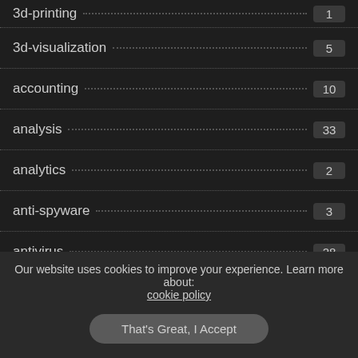3d-printing 1
3d-visualization 5
accounting 10
analysis 33
analytics 2
anti-spyware 3
antivirus 28
audio-processing 510
authoring 16
Our website uses cookies to improve your experience. Learn more about: cookie policy
That's Great, I Accept